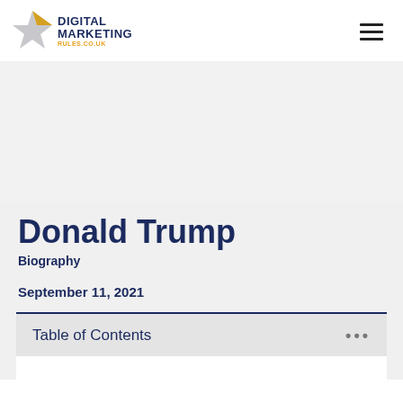Digital Marketing Rules.co.uk
Donald Trump
Biography
September 11, 2021
Table of Contents